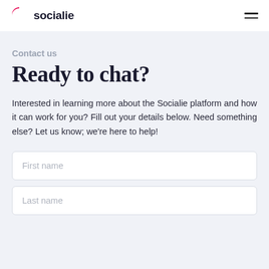socialie
Contact us
Ready to chat?
Interested in learning more about the Socialie platform and how it can work for you? Fill out your details below. Need something else? Let us know; we're here to help!
First name
Last name